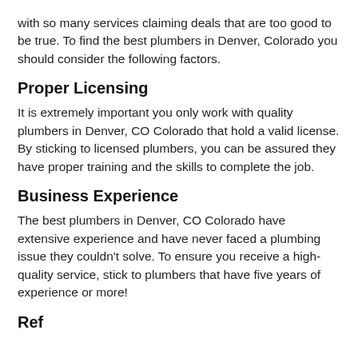with so many services claiming deals that are too good to be true. To find the best plumbers in Denver, Colorado you should consider the following factors.
Proper Licensing
It is extremely important you only work with quality plumbers in Denver, CO Colorado that hold a valid license. By sticking to licensed plumbers, you can be assured they have proper training and the skills to complete the job.
Business Experience
The best plumbers in Denver, CO Colorado have extensive experience and have never faced a plumbing issue they couldn't solve. To ensure you receive a high-quality service, stick to plumbers that have five years of experience or more!
Ref...